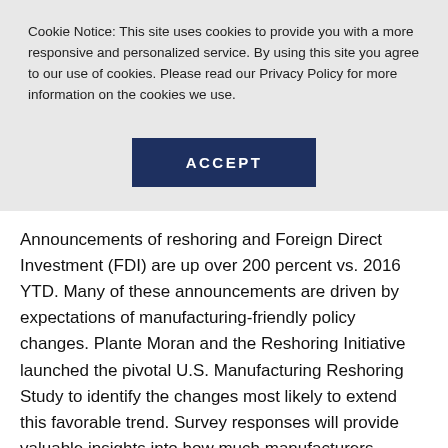Cookie Notice: This site uses cookies to provide you with a more responsive and personalized service. By using this site you agree to our use of cookies. Please read our Privacy Policy for more information on the cookies we use.
[Figure (other): ACCEPT button — dark navy blue rectangular button with white bold uppercase text]
Announcements of reshoring and Foreign Direct Investment (FDI) are up over 200 percent vs. 2016 YTD. Many of these announcements are driven by expectations of manufacturing-friendly policy changes. Plante Moran and the Reshoring Initiative launched the pivotal U.S. Manufacturing Reshoring Study to identify the changes most likely to extend this favorable trend. Survey responses will provide valuable insights into how much manufacturers offshore, what drives them to offshore, and what U.S. policy changes would motivate them to reshore.